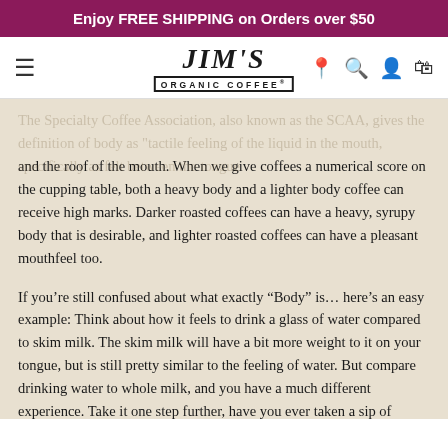Enjoy FREE SHIPPING on Orders over $50
[Figure (logo): Jim's Organic Coffee logo with navigation bar including hamburger menu, location pin, search, account, and cart icons]
and the roof of the mouth. When we give coffees a numerical score on the cupping table, both a heavy body and a lighter body coffee can receive high marks. Darker roasted coffees can have a heavy, syrupy body that is desirable, and lighter roasted coffees can have a pleasant mouthfeel too.
If you’re still confused about what exactly “Body” is… here’s an easy example: Think about how it feels to drink a glass of water compared to skim milk. The skim milk will have a bit more weight to it on your tongue, but is still pretty similar to the feeling of water. But compare drinking water to whole milk, and you have a much different experience. Take it one step further, have you ever taken a sip of cream? Whoa! TONS of body! When drinking your daily coffee, think about how it feels. Does it feel light, like a cup of tea, or does it